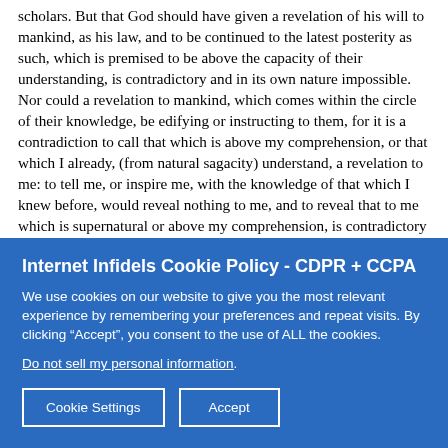scholars. But that God should have given a revelation of his will to mankind, as his law, and to be continued to the latest posterity as such, which is premised to be above the capacity of their understanding, is contradictory and in its own nature impossible. Nor could a revelation to mankind, which comes within the circle of their knowledge, be edifying or instructing to them, for it is a contradiction to call that which is above my comprehension, or that which I already, (from natural sagacity) understand, a revelation to me: to tell me, or inspire me, with the knowledge of that which I knew before, would reveal nothing to me, and to reveal that to me which is supernatural or above my comprehension, is contradictory and impossible. But the truth of the matter is, that mankind are restricted by the law of nature to acquire knowledge or science progressively, as before argued.
Internet Infidels Cookie Policy - CDPR + CCPA
We use cookies on our website to give you the most relevant experience by remembering your preferences and repeat visits. By clicking “Accept”, you consent to the use of ALL the cookies.
Do not sell my personal information.